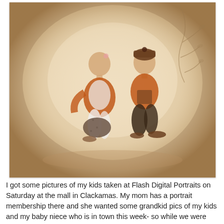[Figure (photo): Studio portrait of two young children sitting together on a sepia-toned background with a decorative branch motif. The girl on the left wears an orange vest over a white long-sleeve shirt with polka dot leggings and a flower hair clip. The boy on the right wears an orange vest and a brown knit hat. Both are seated casually on the floor.]
I got some pictures of my kids taken at Flash Digital Portraits on Saturday at the mall in Clackamas. My mom has a portrait membership there and she wanted some grandkid pics of my kids and my baby niece who is in town this week- so while we were there and the kids were already in picture